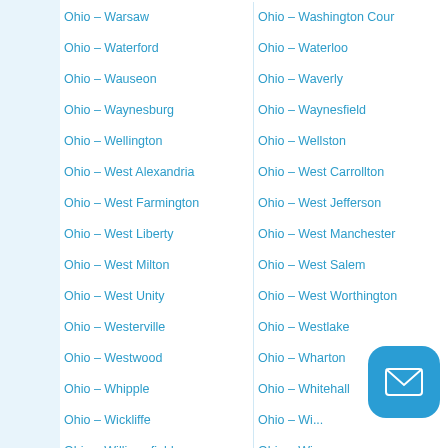Ohio – Warsaw
Ohio – Washington Cour
Ohio – Waterford
Ohio – Waterloo
Ohio – Wauseon
Ohio – Waverly
Ohio – Waynesburg
Ohio – Waynesfield
Ohio – Wellington
Ohio – Wellston
Ohio – West Alexandria
Ohio – West Carrollton
Ohio – West Farmington
Ohio – West Jefferson
Ohio – West Liberty
Ohio – West Manchester
Ohio – West Milton
Ohio – West Salem
Ohio – West Unity
Ohio – West Worthington
Ohio – Westerville
Ohio – Westlake
Ohio – Westwood
Ohio – Wharton
Ohio – Whipple
Ohio – Whitehall
Ohio – Wickliffe
Ohio – Wi...
Ohio – Williamsfield
Ohio – Wi...
Ohio – Willo...
Ohio – Willsi...